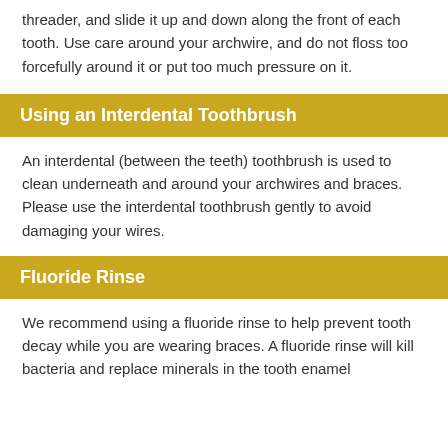threader, and slide it up and down along the front of each tooth. Use care around your archwire, and do not floss too forcefully around it or put too much pressure on it.
Using an Interdental Toothbrush
An interdental (between the teeth) toothbrush is used to clean underneath and around your archwires and braces. Please use the interdental toothbrush gently to avoid damaging your wires.
Fluoride Rinse
We recommend using a fluoride rinse to help prevent tooth decay while you are wearing braces. A fluoride rinse will kill bacteria and replace minerals in the tooth enamel